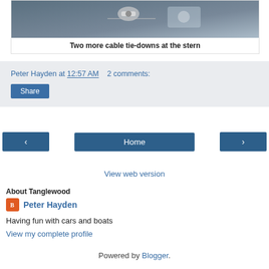[Figure (photo): Photo of two cable tie-downs at the stern of a boat, showing hardware against a grey/blue background]
Two more cable tie-downs at the stern
Peter Hayden at 12:57 AM   2 comments:
Share
‹   Home   ›
View web version
About Tanglewood
Peter Hayden
Having fun with cars and boats
View my complete profile
Powered by Blogger.